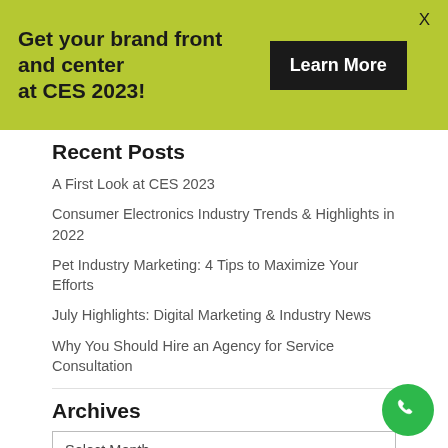[Figure (infographic): Green banner advertisement: 'Get your brand front and center at CES 2023!' with a black 'Learn More' button and an X close button.]
Recent Posts
A First Look at CES 2023
Consumer Electronics Industry Trends & Highlights in 2022
Pet Industry Marketing: 4 Tips to Maximize Your Efforts
July Highlights: Digital Marketing & Industry News
Why You Should Hire an Agency for Service Consultation
Archives
Select Month
Categories
[Figure (illustration): Green circular phone/call button icon in the bottom right corner.]